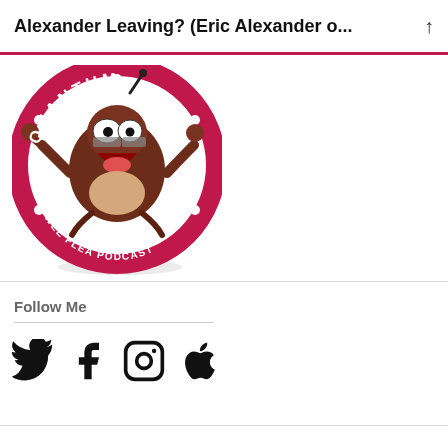Alexander Leaving? (Eric Alexander o...
[Figure (logo): Quantum - The Wee Flea Podcast logo: circular red badge with cartoon flea character wearing glasses, arms raised, with text QUANTUM at top and THE WEE FLEA PODCAST at bottom]
Follow Me
[Figure (infographic): Row of four social media icons: Twitter bird, Facebook F, Instagram camera, Apple logo]